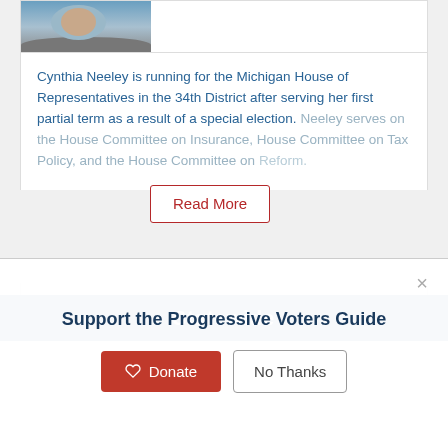[Figure (photo): Partial photo of Cynthia Neeley at top of card]
Cynthia Neeley is running for the Michigan House of Representatives in the 34th District after serving her first partial term as a result of a special election. Neeley serves on the House Committee on Insurance, House Committee on Tax Policy, and the House Committee on [Reform].
Read More
Share
Statewide
Support the Progressive Voters Guide
Donate
No Thanks